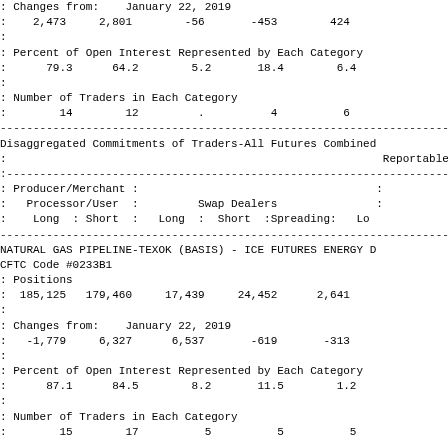: Changes from:    January 22, 2019
:    2,473     2,801        -56       -453        424
: Percent of Open Interest Represented by Each Category
:      79.3      64.2        5.2       18.4        6.4
: Number of Traders in Each Category
:        14        12         .          4          6
Disaggregated Commitments of Traders-All Futures Combined
:                                                         Reportable
: Producer/Merchant :                                    :
:   Processor/User  :         Swap Dealers               :
:    Long  : Short  :   Long  :  Short  :Spreading:   Lo
NATURAL GAS PIPELINE-TEXOK (BASIS) - ICE FUTURES ENERGY D
CFTC Code #0233B1
: Positions
:  185,125   179,460     17,439     24,452      2,641
: Changes from:    January 22, 2019
:   -1,779     6,327      6,537       -619       -313
: Percent of Open Interest Represented by Each Category
:      87.1      84.5        8.2       11.5        1.2
: Number of Traders in Each Category
:        15        17          5          5          5